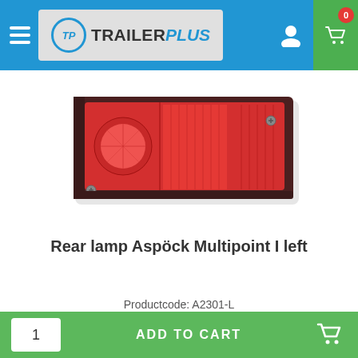TrailerPlus
[Figure (photo): Red rectangular rear tail lamp - Aspöck Multipoint I left side view showing red lens with multiple light sections in a dark housing]
Rear lamp Aspöck Multipoint I left
Productcode: A2301-L
ADD TO CART